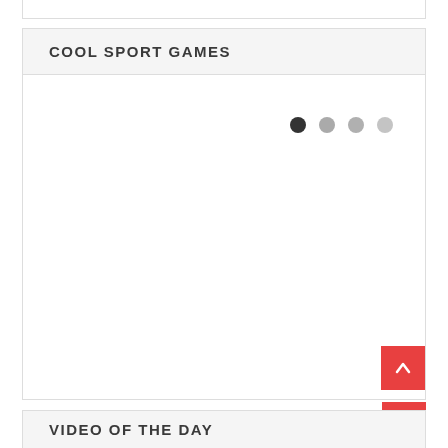COOL SPORT GAMES
[Figure (screenshot): Carousel content area with four pagination dots (first dot active/dark, remaining three lighter gray) indicating multiple slides. The main content area is blank/white showing placeholder for sport game images.]
VIDEO OF THE DAY